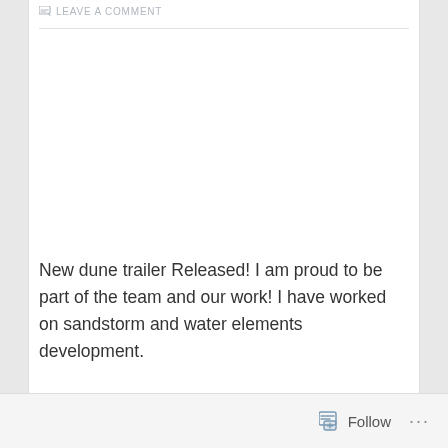LEAVE A COMMENT
New dune trailer Released! I am proud to be part of the team and our work! I have worked on sandstorm and water elements development.
Follow ...